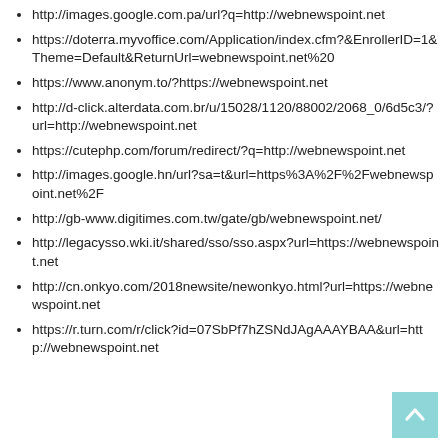http://images.google.com.pa/url?q=http://webnewspoint.net
https://doterra.myvoffice.com/Application/index.cfm?&EnrollerID=1&Theme=Default&ReturnUrl=webnewspoint.net%20
https://www.anonym.to/?https://webnewspoint.net
http://d-click.alterdata.com.br/u/15028/1120/88002/2068_0/6d5c3/?url=http://webnewspoint.net
https://cutephp.com/forum/redirect/?q=http://webnewspoint.net
http://images.google.hn/url?sa=t&url=https%3A%2F%2Fwebnewspoint.net%2F
http://gb-www.digitimes.com.tw/gate/gb/webnewspoint.net/
http://legacysso.wki.it/shared/sso/sso.aspx?url=https://webnewspoint.net
http://cn.onkyo.com/2018newsite/newonkyo.html?url=https://webnewspoint.net
https://r.turn.com/r/click?id=07SbPf7hZSNdJAgAAAYBAA&url=http://webnewspoint.net